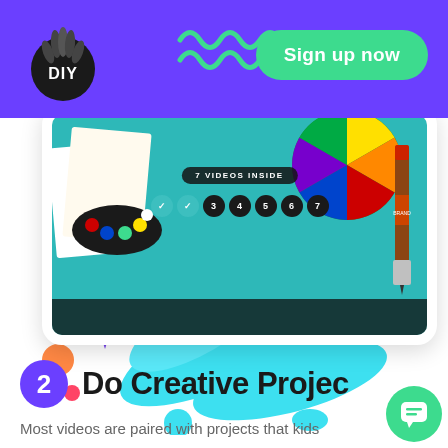DIY — Sign up now
[Figure (screenshot): Tablet showing art supplies — color wheel, paint set, marker — with '7 VIDEOS INSIDE' label and numbered step circles (1-7, first two checked)]
[Figure (illustration): Decorative swoosh shapes in cyan/blue with purple star, orange circle, pink dot, and cyan oval accents]
2  Do Creative Projects
Most videos are paired with projects that kids